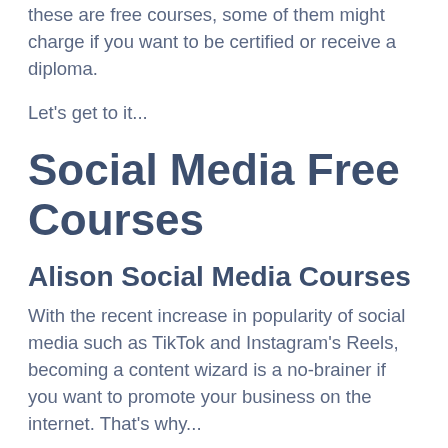these are free courses, some of them might charge if you want to be certified or receive a diploma.
Let's get to it...
Social Media Free Courses
Alison Social Media Courses
With the recent increase in popularity of social media such as TikTok and Instagram's Reels, becoming a content wizard is a no-brainer if you want to promote your business on the internet. That's why...